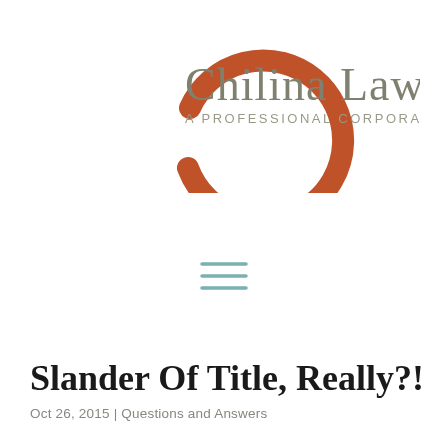[Figure (logo): Chilina Law Firm logo: a rust/terracotta colored letter C arc on the left, with 'Chilina Law Firm' in large gray text and 'A PROFESSIONAL CORPORATION' in smaller gray caps below]
[Figure (other): Hamburger menu icon: three horizontal teal/muted blue-green lines centered on the page]
Slander Of Title, Really?!
Oct 26, 2015 | Questions and Answers